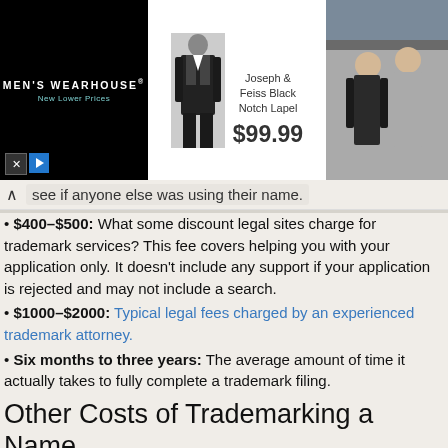[Figure (photo): Men's Wearhouse advertisement banner showing a suit (Joseph & Feiss Black Notch Lapel, $99.99) with a man and woman in formal wear]
see if anyone else was using their name.
• $400–$500: What some discount legal sites charge for trademark services? This fee covers helping you with your application only. It doesn't include any support if your application is rejected and may not include a search.
• $1000–$2000: Typical legal fees charged by an experienced trademark attorney.
• Six months to three years: The average amount of time it actually takes to fully complete a trademark filing.
Other Costs of Trademarking a Name
If you haven't started doing business under the name you want to trademark, the filing will involve some extra steps and cost. About 12 weeks after you apply, the USPTO will send you a notice. You then have six months to either file a Statement of Use (with a $100 fee) accompanied by proof that you've started using the business name, or if